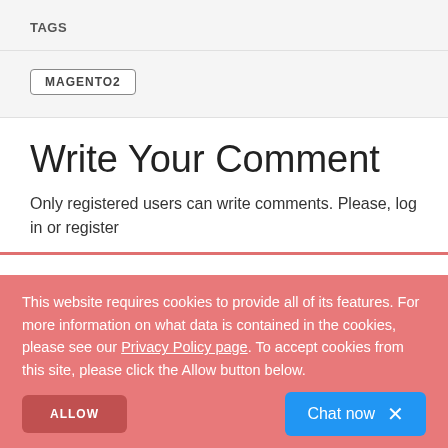TAGS
MAGENTO2
Write Your Comment
Only registered users can write comments. Please, log in or register
RECENT POSTS
This website requires cookies to provide all of its features. For more information on what data is contained in the cookies, please see our Privacy Policy page. To accept cookies from this site, please click the Allow button below.
ALLOW
Chat now